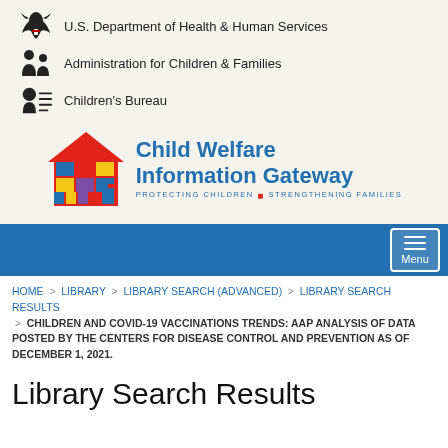[Figure (logo): U.S. Department of Health & Human Services eagle logo icon]
U.S. Department of Health & Human Services
[Figure (logo): Administration for Children & Families logo icon]
Administration for Children & Families
[Figure (logo): Children's Bureau logo icon]
Children's Bureau
[Figure (logo): Child Welfare Information Gateway logo — house with colorful panes, text: Child Welfare Information Gateway, PROTECTING CHILDREN STRENGTHENING FAMILIES]
Menu navigation bar
HOME > LIBRARY > LIBRARY SEARCH (ADVANCED) > LIBRARY SEARCH RESULTS > CHILDREN AND COVID-19 VACCINATIONS TRENDS: AAP ANALYSIS OF DATA POSTED BY THE CENTERS FOR DISEASE CONTROL AND PREVENTION AS OF DECEMBER 1, 2021.
Library Search Results